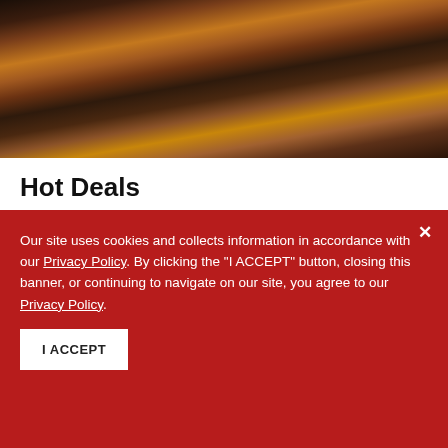[Figure (photo): Photo of a pizza with toppings including green peppers, onions, olives, and other vegetables on a wooden board, with a dipping sauce and wings in the background]
Hot Deals
Save big on all your favorite Pizza Guys food. Check out our Hot Deals page.
SEE DEALS
Our site uses cookies and collects information in accordance with our Privacy Policy. By clicking the "I ACCEPT" button, closing this banner, or continuing to navigate on our site, you agree to our Privacy Policy.
I ACCEPT